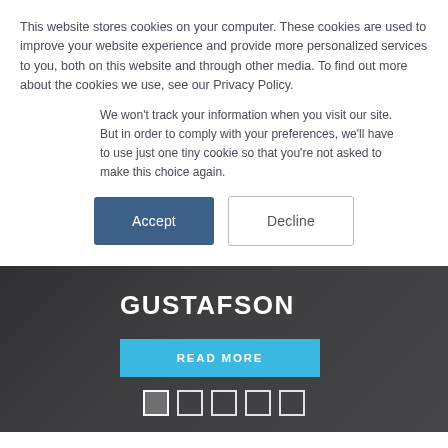This website stores cookies on your computer. These cookies are used to improve your website experience and provide more personalized services to you, both on this website and through other media. To find out more about the cookies we use, see our Privacy Policy.
We won't track your information when you visit our site. But in order to comply with your preferences, we'll have to use just one tiny cookie so that you're not asked to make this choice again.
Accept
Decline
[Figure (screenshot): Hero banner with dark overlay showing 'GUSTAFSON' in bold white uppercase text, a blue 'READ MORE' button, and five white square navigation dots at the bottom]
HOME